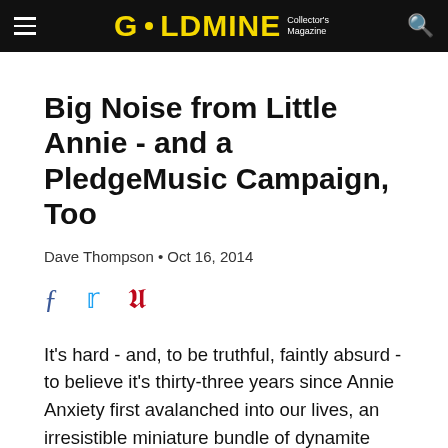GOLDMINE Collector's Magazine
Big Noise from Little Annie - and a PledgeMusic Campaign, Too
Dave Thompson • Oct 16, 2014
[Figure (other): Social sharing icons: Facebook, Twitter, Pinterest]
It's hard - and, to be truthful, faintly absurd - to believe it's thirty-three years since Annie Anxiety first avalanched into our lives, an irresistible miniature bundle of dynamite apparently imported from New York into the world of the UK's Crass fans, and then unleashed across 45 rpms of